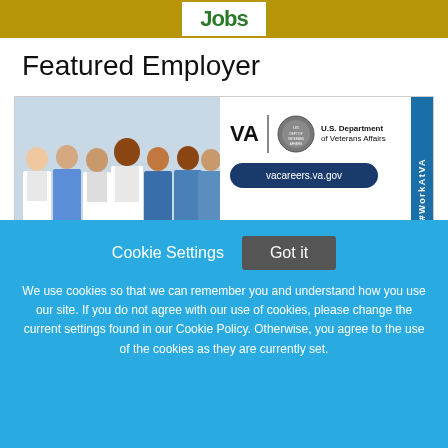Jobs
Featured Employer
[Figure (photo): Group photo of medical staff in white coats and scrubs standing together, alongside VA U.S. Department of Veterans Affairs logo and vacareers.va.gov URL button, with a #WorkAtVA vertical tab on the right side]
About Us
Cookie Settings  Got it

We use cookies so that we can remember you and understand how you use our site. If you do not agree with our use of cookies, please change the current settings found in our Cookie Policy. Otherwise, you agree to the use of the cookies as they are currently set.